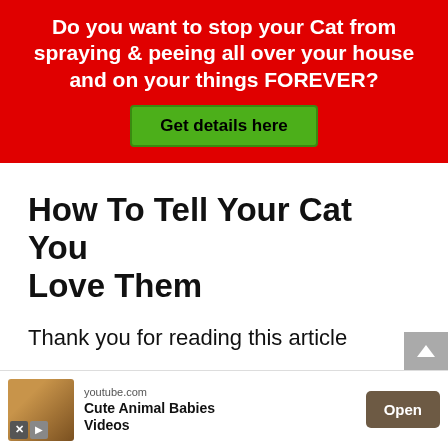[Figure (infographic): Red banner advertisement with white bold text asking 'Do you want to stop your Cat from spraying & peeing all over your house and on your things FOREVER?' with a green 'Get details here' button]
How To Tell Your Cat You Love Them
Thank you for reading this article
I hope you have learned something new today
[Figure (infographic): Advertisement bar at bottom: youtube.com ad for 'Cute Animal Babies Videos' with monkey thumbnail, X and play icons, and an 'Open' button]